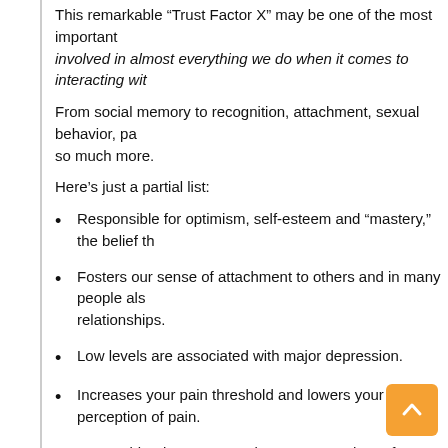This remarkable “Trust Factor X” may be one of the most important involved in almost everything we do when it comes to interacting with
From social memory to recognition, attachment, sexual behavior, pa so much more.
Here’s just a partial list:
Responsible for optimism, self-esteem and “mastery,” the belief th
Fosters our sense of attachment to others and in many people als relationships.
Low levels are associated with major depression.
Increases your pain threshold and lowers your perception of pain.
Lowers blood pressure and protects your heart from stress.
Makes you 50% more generous, no matter how much money you
Boosts sexual arousal and pleasure from sex.
Helps ease the fear of public speaking.